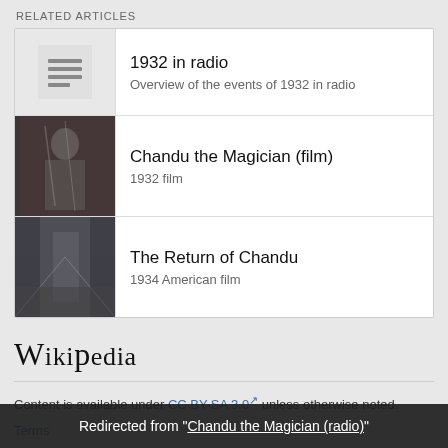RELATED ARTICLES
1932 in radio — Overview of the events of 1932 in radio
Chandu the Magician (film) — 1932 film
The Return of Chandu — 1934 American film
[Figure (logo): Wikipedia logo with stylized text]
Content is available under CC BY-SA 3.0 unless otherwise noted.
Terms
Redirected from "Chandu the Magician (radio)"